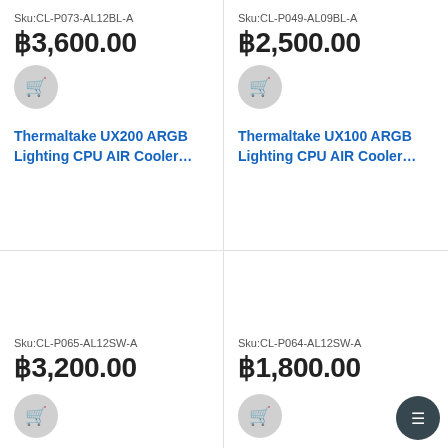Sku:CL-P073-AL12BL-A
฿3,600.00
Sku:CL-P049-AL09BL-A
฿2,500.00
Thermaltake UX200 ARGB Lighting CPU AIR Cooler…
Thermaltake UX100 ARGB Lighting CPU AIR Cooler…
Sku:CL-P065-AL12SW-A
฿3,200.00
Sku:CL-P064-AL12SW-A
฿1,800.00